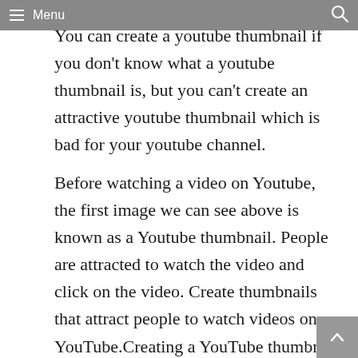Menu
You can create a youtube thumbnail if you don't know what a youtube thumbnail is, but you can't create an attractive youtube thumbnail which is bad for your youtube channel.
Before watching a video on Youtube, the first image we can see above is known as a Youtube thumbnail. People are attracted to watch the video and click on the video. Create thumbnails that attract people to watch videos on YouTube.Creating a YouTube thumbnail with a low idea doesn't appeal to people. You need to consider the YouTube platform differently to